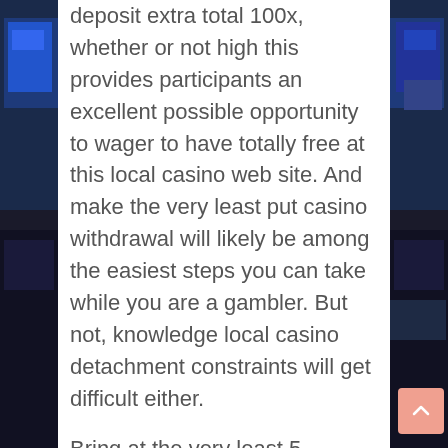deposit extra total 100x, whether or not high this provides participants an excellent possible opportunity to wager to have totally free at this local casino web site. And make the very least put casino withdrawal will likely be among the easiest steps you can take while you are a gambler. But not, knowledge local casino detachment constraints will get difficult either.

Bring at the very least 5 minutes in order to browse through the site in order to make sure that they vibes along with you. Wildz is a perfect online casino having Canadian players. You can sample the brand new gambling
[Figure (photo): Background photo strips on left and right sides showing dark blue computer monitor scenes in a gaming or office environment.]